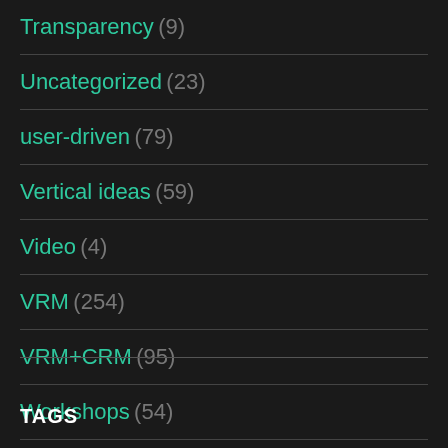Transparency (9)
Uncategorized (23)
user-driven (79)
Vertical ideas (59)
Video (4)
VRM (254)
VRM+CRM (95)
Workshops (54)
TAGS